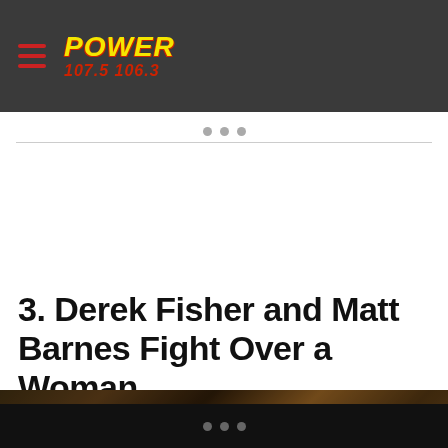POWER 107.5 106.3
3. Derek Fisher and Matt Barnes Fight Over a Woman
[Figure (photo): Dark blurred photo of a person, background with warm brown/orange tones]